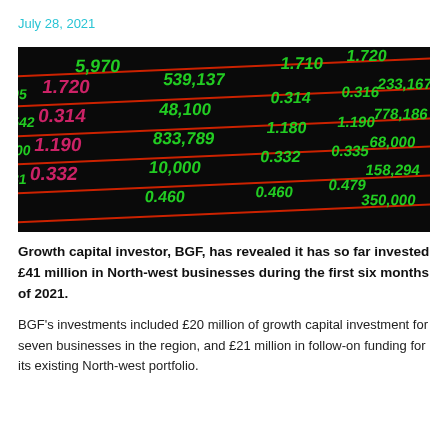July 28, 2021
[Figure (photo): Stock market ticker board displaying numbers in green and red/pink on a dark background, showing trading data including values like 5,970, 539,137, 1.710, 1.720, 233,167, 778,186, 833,789, 68,000, 158,294, 350,000 and other trading figures.]
Growth capital investor, BGF, has revealed it has so far invested £41 million in North-west businesses during the first six months of 2021.
BGF's investments included £20 million of growth capital investment for seven businesses in the region, and £21 million in follow-on funding for its existing North-west portfolio.